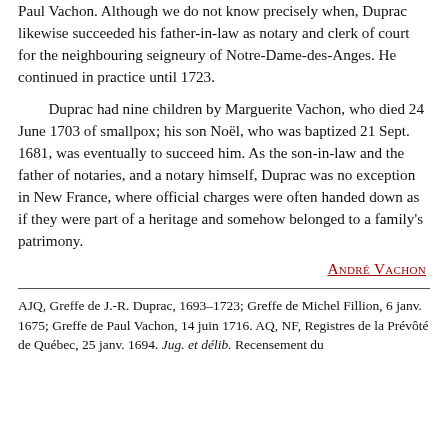Paul Vachon. Although we do not know precisely when, Duprac likewise succeeded his father-in-law as notary and clerk of court for the neighbouring seigneury of Notre-Dame-des-Anges. He continued in practice until 1723.
Duprac had nine children by Marguerite Vachon, who died 24 June 1703 of smallpox; his son Noël, who was baptized 21 Sept. 1681, was eventually to succeed him. As the son-in-law and the father of notaries, and a notary himself, Duprac was no exception in New France, where official charges were often handed down as if they were part of a heritage and somehow belonged to a family's patrimony.
André Vachon
AJQ, Greffe de J.-R. Duprac, 1693–1723; Greffe de Michel Fillion, 6 janv. 1675; Greffe de Paul Vachon, 14 juin 1716. AQ, NF, Registres de la Prévôté de Québec, 25 janv. 1694. Jug. et délib. Recensement du